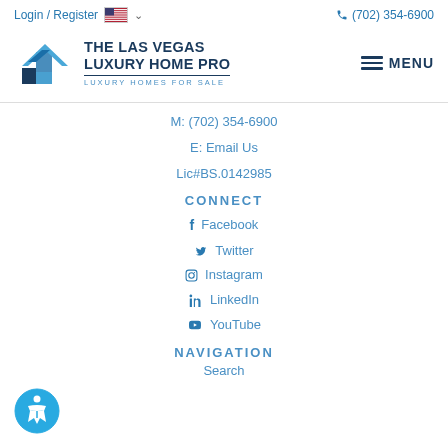Login / Register  (702) 354-6900
[Figure (logo): The Las Vegas Luxury Home Pro logo with geometric house icon in blue shades and text 'THE LAS VEGAS LUXURY HOME PRO / LUXURY HOMES FOR SALE']
M: (702) 354-6900
E: Email Us
Lic#BS.0142985
CONNECT
Facebook
Twitter
Instagram
LinkedIn
YouTube
NAVIGATION
Search